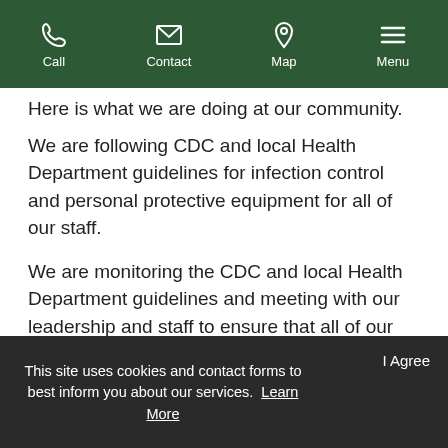Call  Contact  Map  Menu
Here is what we are doing at our community.
We are following CDC and local Health Department guidelines for infection control and personal protective equipment for all of our staff.
We are monitoring the CDC and local Health Department guidelines and meeting with our leadership and staff to ensure that all of our employees understand and follow the latest
This site uses cookies and contact forms to best inform you about our services. Learn More   I Agree